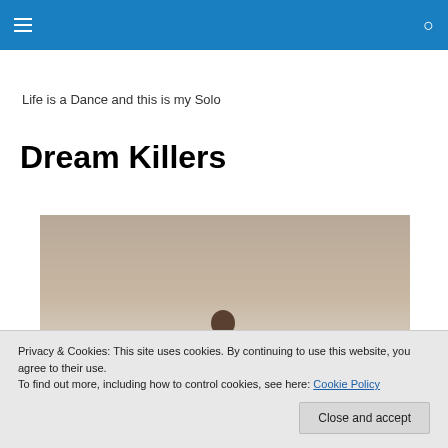≡  🔍
Life is a Dance and this is my Solo
Dream Killers
[Figure (photo): A person photographed outdoors against a soft warm-toned background, partially visible, wearing dark clothing.]
Privacy & Cookies: This site uses cookies. By continuing to use this website, you agree to their use.
To find out more, including how to control cookies, see here: Cookie Policy
Close and accept